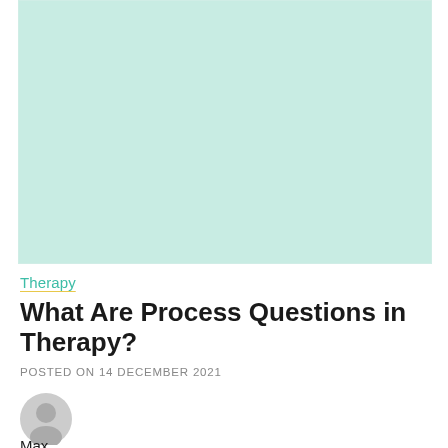[Figure (illustration): Light mint/teal colored placeholder hero image rectangle]
Therapy
What Are Process Questions in Therapy?
POSTED ON 14 DECEMBER 2021
[Figure (photo): Circular gray author avatar/profile icon]
Max